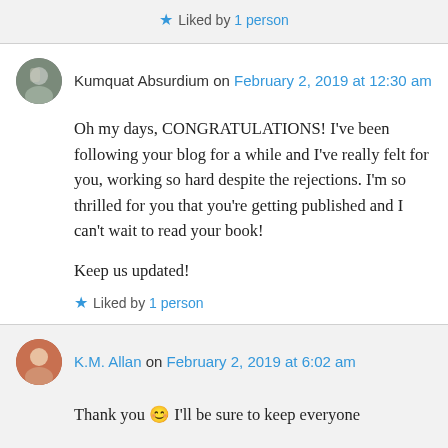Liked by 1 person
Kumquat Absurdium on February 2, 2019 at 12:30 am
Oh my days, CONGRATULATIONS! I've been following your blog for a while and I've really felt for you, working so hard despite the rejections. I'm so thrilled for you that you're getting published and I can't wait to read your book!

Keep us updated!
Liked by 1 person
K.M. Allan on February 2, 2019 at 6:02 am
Thank you 😊 I'll be sure to keep everyone